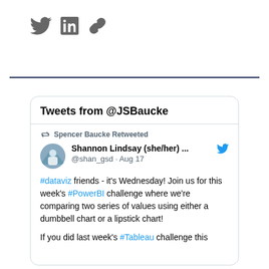[Figure (infographic): Social media icons: Twitter bird, LinkedIn square, chain/link icon in dark gray]
Tweets from @JSBaucke
Spencer Baucke Retweeted
Shannon Lindsay (she/her) ... @shan_gsd · Aug 17
#dataviz friends - it's Wednesday! Join us for this week's #PowerBI challenge where we're comparing two series of values using either a dumbbell chart or a lipstick chart!

If you did last week's #Tableau challenge this